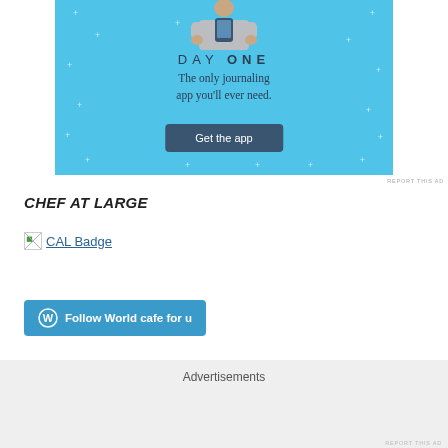[Figure (screenshot): Day One journaling app advertisement banner with light blue background, illustration of person holding phone, text 'DAY ONE', tagline 'The only journaling app you'll ever need.', and a 'Get the app' button]
REPORT THIS AD
CHEF AT LARGE
[Figure (logo): CAL Badge - a broken image placeholder icon followed by the text 'CAL Badge' in blue link color]
[Figure (screenshot): WordPress Follow button: 'Follow World cafe for u' with WordPress logo icon on blue background]
[Figure (other): Close/dismiss button (circle with X) in bottom right area]
Advertisements